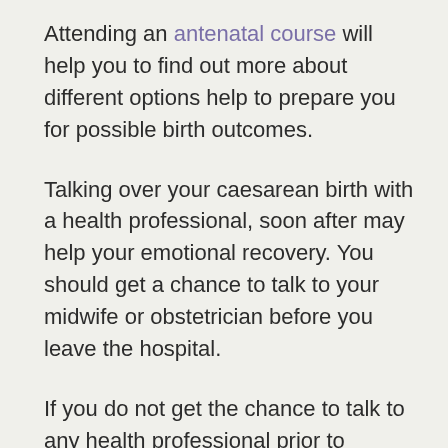Attending an antenatal course will help you to find out more about different options help to prepare you for possible birth outcomes.
Talking over your caesarean birth with a health professional, soon after may help your emotional recovery. You should get a chance to talk to your midwife or obstetrician before you leave the hospital.
If you do not get the chance to talk to any health professional prior to leaving the hospital arrange an appointment as soon as possible. You may then be able to discuss how the caesarean may affect future pregnancies.